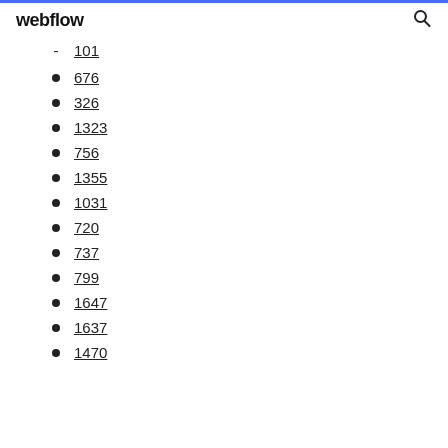webflow
101
676
326
1323
756
1355
1031
720
737
799
1647
1637
1470